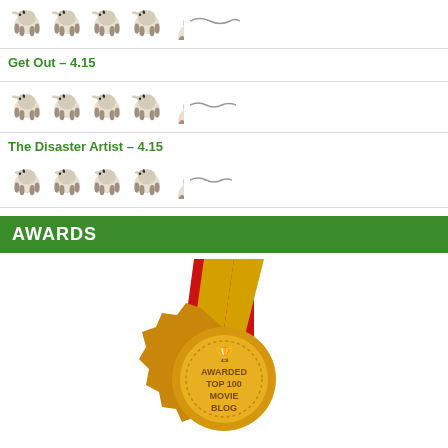Get Out – 4.15
[Figure (illustration): Four sheep rating icons with a partial fifth sheep indicating a rating of 4.15 out of 5]
The Disaster Artist – 4.15
[Figure (illustration): Four sheep rating icons with a partial fifth sheep indicating a rating of 4.15 out of 5]
AWARDS
[Figure (illustration): Gold medal with red and yellow ribbon, text: AWARDED TOP 100 MOVIE BLOG]